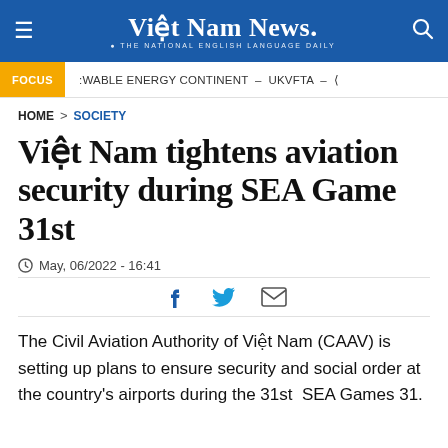Việt Nam News. THE NATIONAL ENGLISH LANGUAGE DAILY
FOCUS | :WABLE ENERGY CONTINENT – UKVFTA –
HOME > SOCIETY
Việt Nam tightens aviation security during SEA Game 31st
May, 06/2022 - 16:41
The Civil Aviation Authority of Việt Nam (CAAV) is setting up plans to ensure security and social order at the country's airports during the 31st  SEA Games 31.